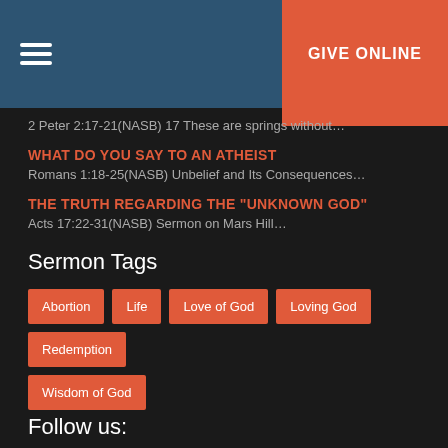GIVE ONLINE
2 Peter 2:17-21(NASB) 17 These are springs without…
WHAT DO YOU SAY TO AN ATHEIST
Romans 1:18-25(NASB) Unbelief and Its Consequences…
THE TRUTH REGARDING THE "UNKNOWN GOD"
Acts 17:22-31(NASB) Sermon on Mars Hill…
Sermon Tags
Abortion
Life
Love of God
Loving God
Redemption
Wisdom of God
Follow us: